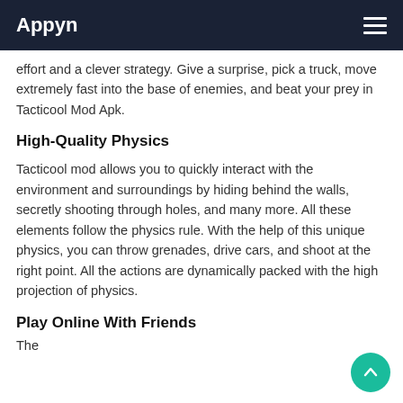Appyn
effort and a clever strategy. Give a surprise, pick a truck, move extremely fast into the base of enemies, and beat your prey in Tacticool Mod Apk.
High-Quality Physics
Tacticool mod allows you to quickly interact with the environment and surroundings by hiding behind the walls, secretly shooting through holes, and many more. All these elements follow the physics rule. With the help of this unique physics, you can throw grenades, drive cars, and shoot at the right point. All the actions are dynamically packed with the high projection of physics.
Play Online With Friends
The opening text is shown partially at the bottom.